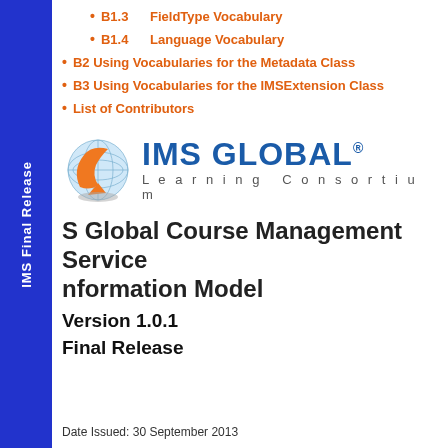B1.3  FieldType Vocabulary
B1.4  Language Vocabulary
B2 Using Vocabularies for the Metadata Class
B3 Using Vocabularies for the IMSExtension Class
List of Contributors
[Figure (logo): IMS Global Learning Consortium logo with globe graphic and text]
IMS Global Course Management Service Information Model
Version 1.0.1
Final Release
Date Issued: 30 September 2013